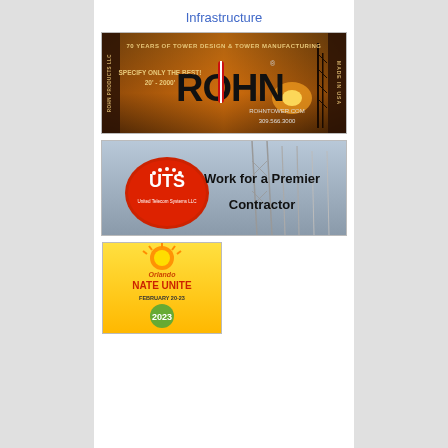Infrastructure
[Figure (advertisement): ROHN tower advertisement: '70 YEARS OF TOWER DESIGN & TOWER MANUFACTURING', 'SPECIFY ONLY THE BEST! 20' - 2000'', ROHN logo with red/white stripe, rohntower.com, 309.566.3000, MADE IN USA, sunset background with tower silhouette]
[Figure (advertisement): UTS (United Telecom Systems LLC) advertisement: red oval UTS logo with white text, 'Work for a Premier Contractor' text in black bold, background shows electrical transmission towers]
[Figure (advertisement): Orlando NATE Unite February 20-23 2023 event advertisement, yellow/orange background with sun graphic, partial view]